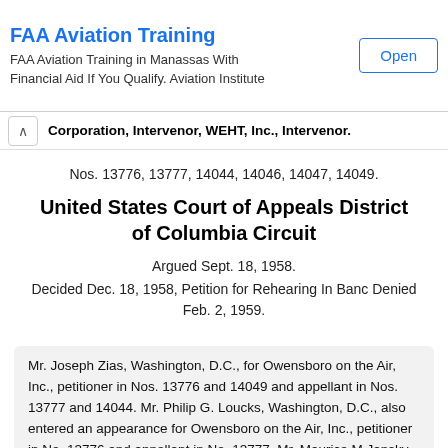FAA Aviation Training — FAA Aviation Training in Manassas With Financial Aid If You Qualify. Aviation Institute — Open
Corporation, Intervenor, WEHT, Inc., Intervenor.
Nos. 13776, 13777, 14044, 14046, 14047, 14049.
United States Court of Appeals District of Columbia Circuit
Argued Sept. 18, 1958.
Decided Dec. 18, 1958, Petition for Rehearing In Banc Denied Feb. 2, 1959.
Mr. Joseph Zias, Washington, D.C., for Owensboro on the Air, Inc., petitioner in Nos. 13776 and 14049 and appellant in Nos. 13777 and 14044. Mr. Philip G. Loucks, Washington, D.C., also entered an appearance for Owensboro on the Air, Inc., petitioner in No. 13776 and appellant in No. 13777. Mr. Maurice M Jansky, Washington, D.C., also entered an appearance for Owensboro on the Air, Inc., appellant in No. 14044.